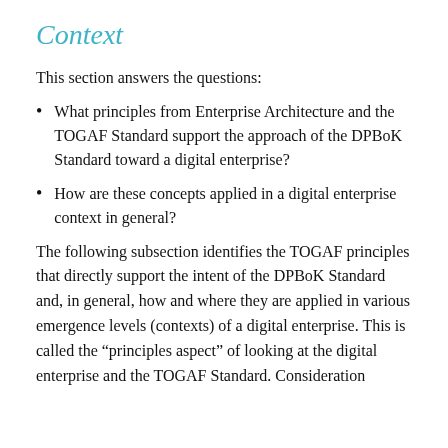Context
This section answers the questions:
What principles from Enterprise Architecture and the TOGAF Standard support the approach of the DPBoK Standard toward a digital enterprise?
How are these concepts applied in a digital enterprise context in general?
The following subsection identifies the TOGAF principles that directly support the intent of the DPBoK Standard and, in general, how and where they are applied in various emergence levels (contexts) of a digital enterprise. This is called the “principles aspect” of looking at the digital enterprise and the TOGAF Standard. Consideration